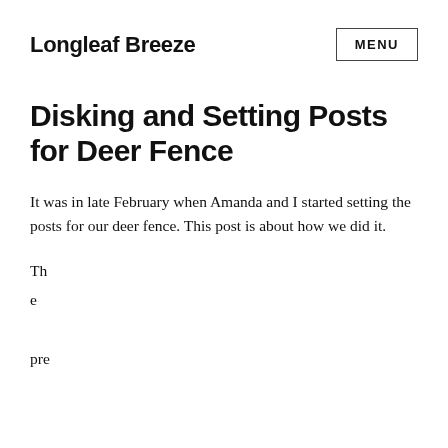Longleaf Breeze
Disking and Setting Posts for Deer Fence
It was in late February when Amanda and I started setting the posts for our deer fence. This post is about how we did it.
Th
e
pre